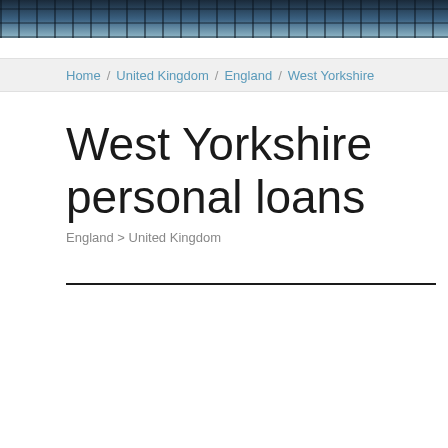[Figure (photo): Top portion of a building with glass windows and steel structure, partial view cropped at top of page]
Home / United Kingdom / England / West Yorkshire
West Yorkshire personal loans
England > United Kingdom